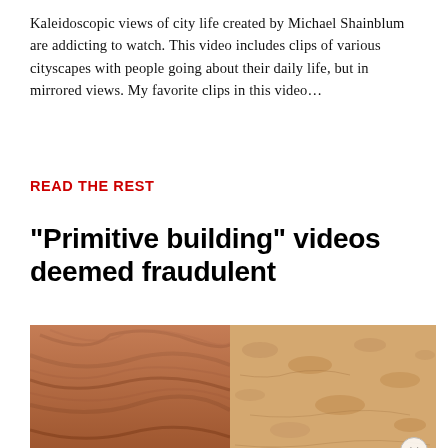Kaleidoscopic views of city life created by Michael Shainblum are addicting to watch. This video includes clips of various cityscapes with people going about their daily life, but in mirrored views. My favorite clips in this video…
READ THE REST
"Primitive building" videos deemed fraudulent
[Figure (photo): Close-up photograph showing two textures side by side: wooden grain on the left (brown/orange tones) and sandy/clay soil on the right (lighter tan), with a circular close button overlay in the bottom right corner]